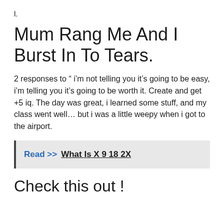l.
Mum Rang Me And I Burst In To Tears.
2 responses to “ i’m not telling you it’s going to be easy, i’m telling you it’s going to be worth it. Create and get +5 iq. The day was great, i learned some stuff, and my class went well… but i was a little weepy when i got to the airport.
Read >>  What Is X 9 18 2X
Check this out !